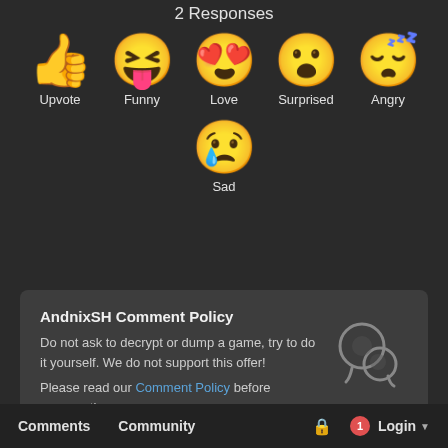2 Responses
[Figure (infographic): Six emoji reaction buttons: Upvote (thumbs up), Funny (laughing face with tongue), Love (heart eyes), Surprised (open mouth), Angry (sleeping/tired face), Sad (crying face)]
AndnixSH Comment Policy
Do not ask to decrypt or dump a game, try to do it yourself. We do not support this offer!
Please read our Comment Policy before commenting.
Comments   Community   [lock icon]   1   Login ▾